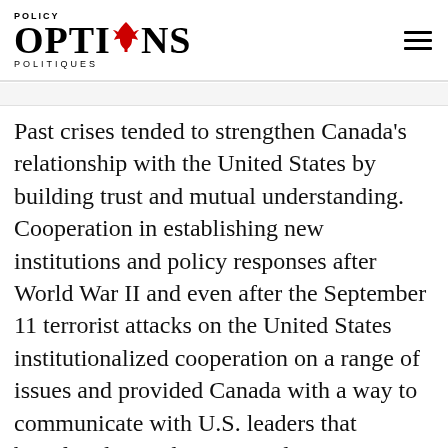POLICY OPTIONS POLITIQUES
Past crises tended to strengthen Canada's relationship with the United States by building trust and mutual understanding. Cooperation in establishing new institutions and policy responses after World War II and even after the September 11 terrorist attacks on the United States institutionalized cooperation on a range of issues and provided Canada with a way to communicate with U.S. leaders that benefitted Canadian national interests.